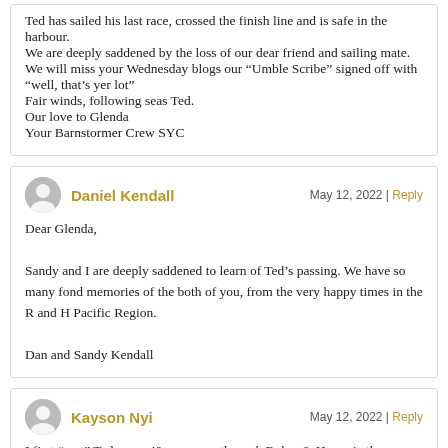Ted has sailed his last race, crossed the finish line and is safe in the harbour.
We are deeply saddened by the loss of our dear friend and sailing mate.
We will miss your Wednesday blogs our “Umble Scribe” signed off with
“well, that’s yer lot”
Fair winds, following seas Ted.
Our love to Glenda
Your Barnstormer Crew SYC
Daniel Kendall
May 12, 2022 | Reply
Dear Glenda,

Sandy and I are deeply saddened to learn of Ted’s passing. We have so many fond memories of the both of you, from the very happy times in the R and H Pacific Region.

Dan and Sandy Kendall
Kayson Nyi
May 12, 2022 | Reply
I first “met” Ted some 40 years ago through Rohm & Haas via the “Twiitter” of that era: telex. His humor and charm showed through even through that